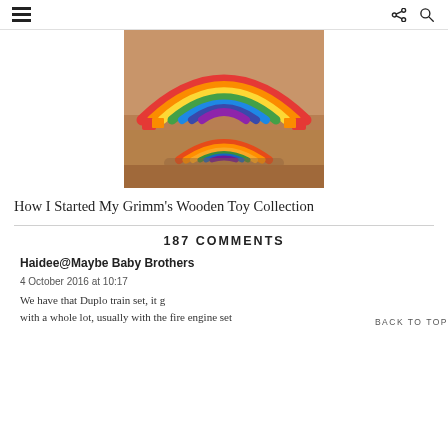☰  [share] [search]
[Figure (photo): A Grimm's rainbow wooden stacker toy (colorful arched wooden pieces in rainbow colors stacked on top of each other) next to a smaller clay or playdough rainbow on a wooden surface.]
How I Started My Grimm's Wooden Toy Collection
187 COMMENTS
Haidee@Maybe Baby Brothers
4 October 2016 at 10:17
We have that Duplo train set, it g with a whole lot, usually with the fire engine set
BACK TO TOP